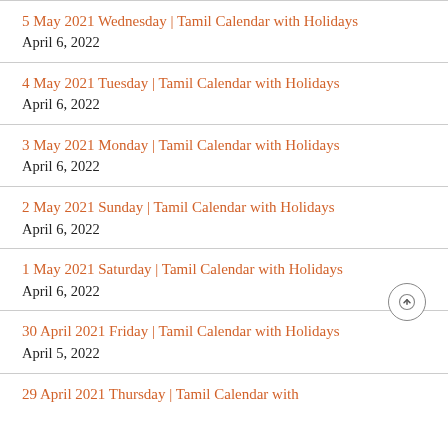5 May 2021 Wednesday | Tamil Calendar with Holidays April 6, 2022
4 May 2021 Tuesday | Tamil Calendar with Holidays April 6, 2022
3 May 2021 Monday | Tamil Calendar with Holidays April 6, 2022
2 May 2021 Sunday | Tamil Calendar with Holidays April 6, 2022
1 May 2021 Saturday | Tamil Calendar with Holidays April 6, 2022
30 April 2021 Friday | Tamil Calendar with Holidays April 5, 2022
29 April 2021 Thursday | Tamil Calendar with